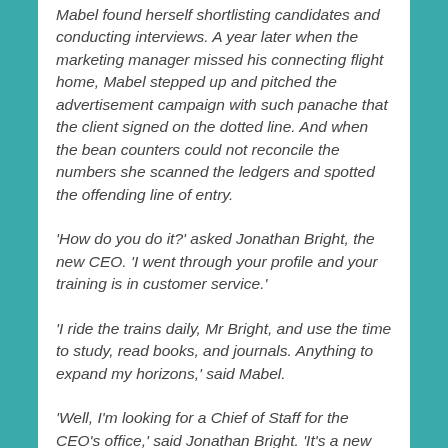Mabel found herself shortlisting candidates and conducting interviews. A year later when the marketing manager missed his connecting flight home, Mabel stepped up and pitched the advertisement campaign with such panache that the client signed on the dotted line. And when the bean counters could not reconcile the numbers she scanned the ledgers and spotted the offending line of entry.
'How do you do it?' asked Jonathan Bright, the new CEO. 'I went through your profile and your training is in customer service.'
'I ride the trains daily, Mr Bright, and use the time to study, read books, and journals. Anything to expand my horizons,' said Mabel.
'Well, I'm looking for a Chief of Staff for the CEO's office,' said Jonathan Bright. 'It's a new position and